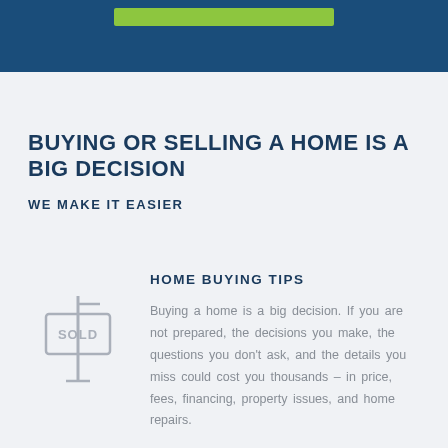[Figure (illustration): Dark blue header bar with a green/lime rectangular bar centered within it]
BUYING OR SELLING A HOME IS A BIG DECISION
WE MAKE IT EASIER
[Figure (illustration): Line-art icon of a real estate 'SOLD' sign on a post]
HOME BUYING TIPS
Buying a home is a big decision. If you are not prepared, the decisions you make, the questions you don't ask, and the details you miss could cost you thousands – in price, fees, financing, property issues, and home repairs.